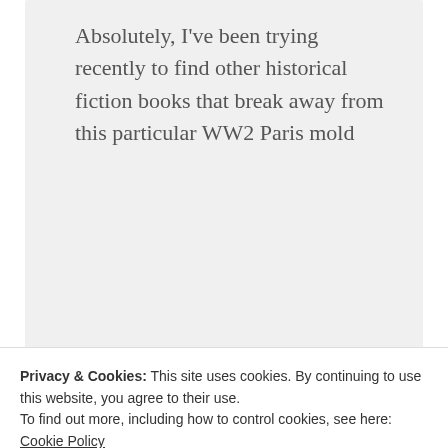Absolutely, I've been trying recently to find other historical fiction books that break away from this particular WW2 Paris mold
★ Liked by 1 person
REPLY
Privacy & Cookies: This site uses cookies. By continuing to use this website, you agree to their use. To find out more, including how to control cookies, see here: Cookie Policy
Close and accept
that last category — especially